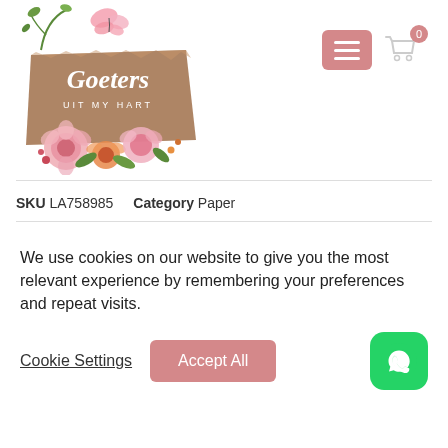[Figure (logo): Goeters Uit My Hart logo with floral decoration, butterfly, and brown wooden sign on white background]
SKU LA758985    Category Paper
We use cookies on our website to give you the most relevant experience by remembering your preferences and repeat visits.
Cookie Settings
Accept All